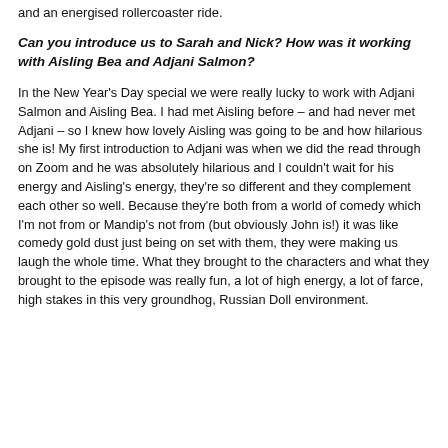and an energised rollercoaster ride.
Can you introduce us to Sarah and Nick? How was it working with Aisling Bea and Adjani Salmon?
In the New Year's Day special we were really lucky to work with Adjani Salmon and Aisling Bea. I had met Aisling before – and had never met Adjani – so I knew how lovely Aisling was going to be and how hilarious she is! My first introduction to Adjani was when we did the read through on Zoom and he was absolutely hilarious and I couldn't wait for his energy and Aisling's energy, they're so different and they complement each other so well. Because they're both from a world of comedy which I'm not from or Mandip's not from (but obviously John is!) it was like comedy gold dust just being on set with them, they were making us laugh the whole time. What they brought to the characters and what they brought to the episode was really fun, a lot of high energy, a lot of farce, high stakes in this very groundhog, Russian Doll environment.